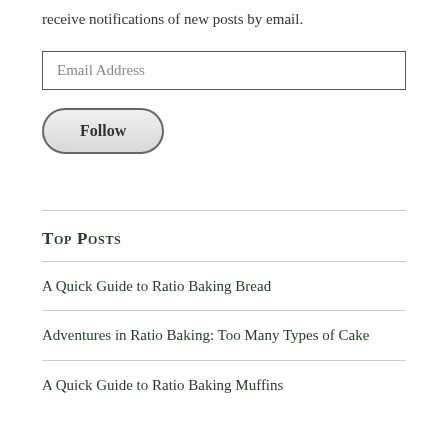receive notifications of new posts by email.
Email Address
Follow
Top Posts
A Quick Guide to Ratio Baking Bread
Adventures in Ratio Baking: Too Many Types of Cake
A Quick Guide to Ratio Baking Muffins